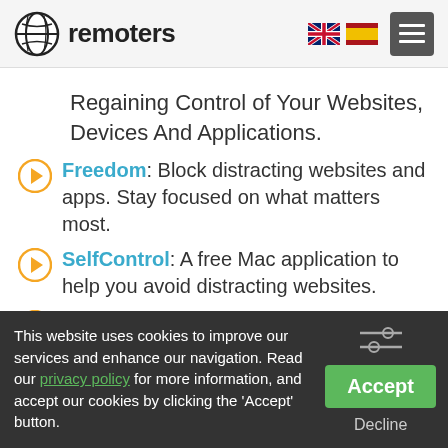remoters
Regaining Control of Your Websites, Devices And Applications.
Freedom: Block distracting websites and apps. Stay focused on what matters most.
SelfControl: A free Mac application to help you avoid distracting websites.
Cold Turkey: Boost your productivity and reclaim your free time by blocking distracting
This website uses cookies to improve our services and enhance our navigation. Read our privacy policy for more information, and accept our cookies by clicking the 'Accept' button.